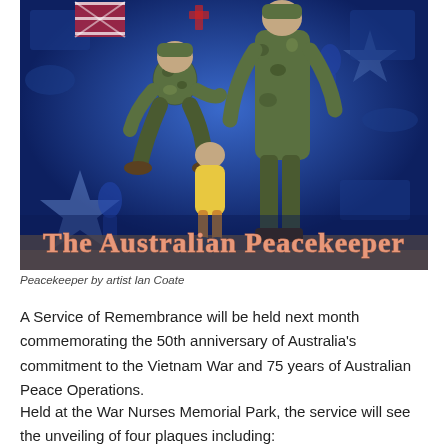[Figure (illustration): Painting titled 'The Australian Peacekeeper' by artist Ian Coate. Shows Australian military personnel in camouflage uniforms, one crouching and interacting with a child in a yellow shirt, set against a blue background filled with various military and Australian imagery including stars, vehicles, and figures.]
Peacekeeper by artist Ian Coate
A Service of Remembrance will be held next month commemorating the 50th anniversary of Australia's commitment to the Vietnam War and 75 years of Australian Peace Operations.
Held at the War Nurses Memorial Park, the service will see the unveiling of four plaques including: